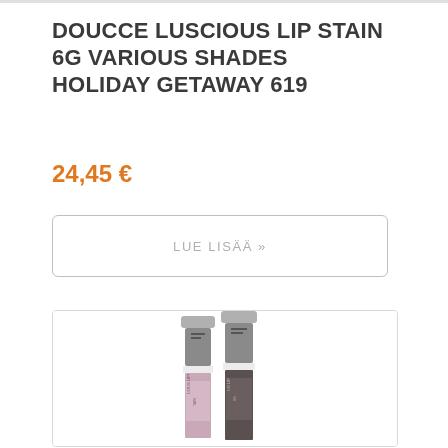DOUCCE LUSCIOUS LIP STAIN 6G VARIOUS SHADES HOLIDAY GETAWAY 619
24,45 €
LUE LISÄÄ »
[Figure (photo): Two Doucce Luscious Lip Stain product tubes with silver/grey caps and pink and dark lip stain visible at the base, standing upright side by side]